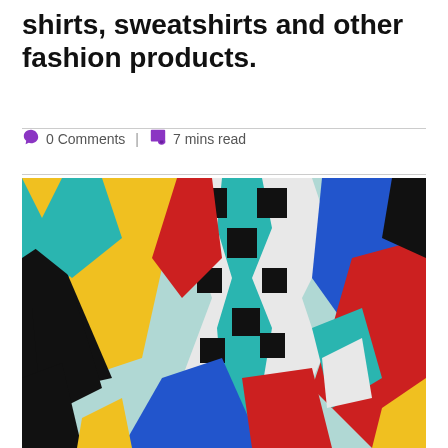shirts, sweatshirts and other fashion products.
0 Comments | 7 mins read
[Figure (illustration): Abstract geometric mural with bold shapes in teal, yellow, black, white, red, and blue — geometric cubist-style artwork with overlapping angular and curved forms.]